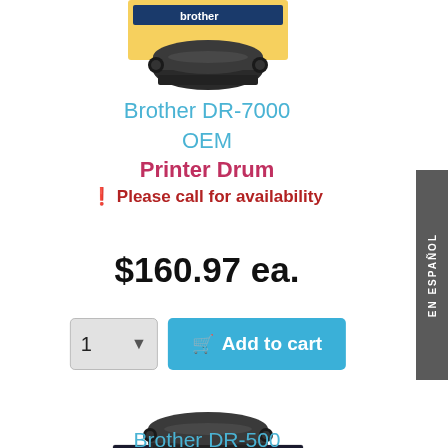[Figure (photo): Brother DR-7000 printer drum product photo with box, partial view at top]
Brother DR-7000
OEM
Printer Drum
! Please call for availability
$160.97 ea.
[Figure (screenshot): Quantity selector dropdown showing '1' and Add to cart button in teal/blue]
[Figure (photo): Brother DR-500 printer drum product photo with box]
Brother DR-500